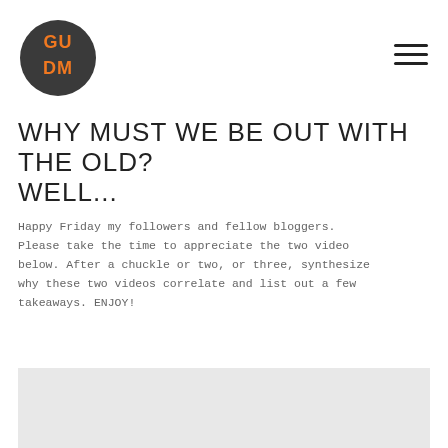[Figure (logo): GUDM logo — dark circle with orange block letters GU DM]
WHY MUST WE BE OUT WITH THE OLD? WELL...
Happy Friday my followers and fellow bloggers. Please take the time to appreciate the two video below. After a chuckle or two, or three, synthesize why these two videos correlate and list out a few takeaways. ENJOY!
[Figure (screenshot): Embedded video placeholder area with light grey background]